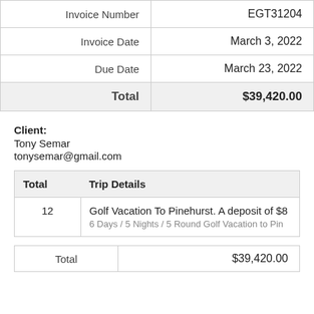|  |  |
| --- | --- |
| Invoice Number | EGT31204 |
| Invoice Date | March 3, 2022 |
| Due Date | March 23, 2022 |
| Total | $39,420.00 |
Client:
Tony Semar
tonysemar@gmail.com
| Total | Trip Details |
| --- | --- |
| 12 | Golf Vacation To Pinehurst. A deposit of $8...
6 Days / 5 Nights / 5 Round Golf Vacation to Pin... |
| Total | $39,420.00 |